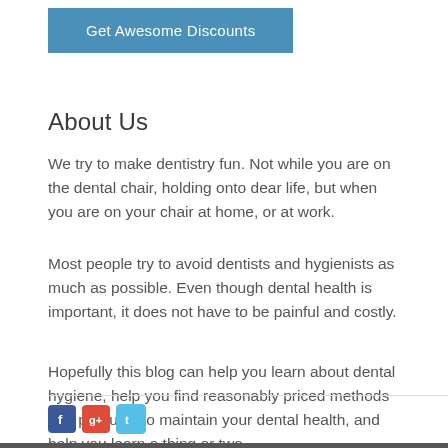Get Awesome Discounts
About Us
We try to make dentistry fun. Not while you are on the dental chair, holding onto dear life, but when you are on your chair at home, or at work.
Most people try to avoid dentists and hygienists as much as possible. Even though dental health is important, it does not have to be painful and costly.
Hopefully this blog can help you learn about dental hygiene, help you find reasonably priced methods and products to maintain your dental health, and help you learn a thing or two.
[Figure (other): Social media icons: Facebook, Google+, Twitter]